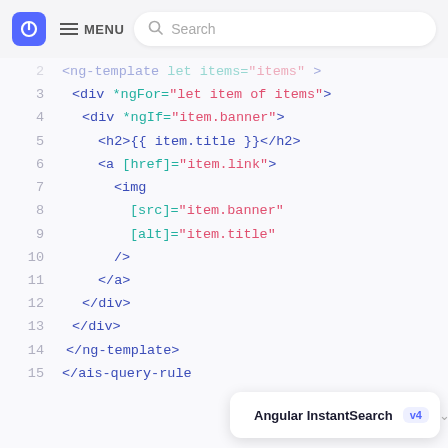[Figure (screenshot): Top navigation bar with blue logo icon, hamburger MENU, and search bar]
[Figure (screenshot): Code editor showing Angular template HTML code with syntax highlighting, lines 2-15, and Angular InstantSearch v4 tooltip overlay at bottom right]